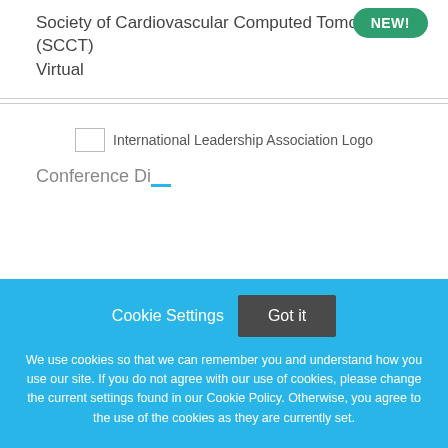Society of Cardiovascular Computed Tomography (SCCT)
Virtual
[Figure (logo): International Leadership Association Logo]
Cookie Settings   Got it
We use cookies so that we can remember you and understand how you use our site. If you do not agree with our use of cookies, please change the current settings found in our Cookie Policy. Otherwise, you agree to the use of the cookies as they are currently set.